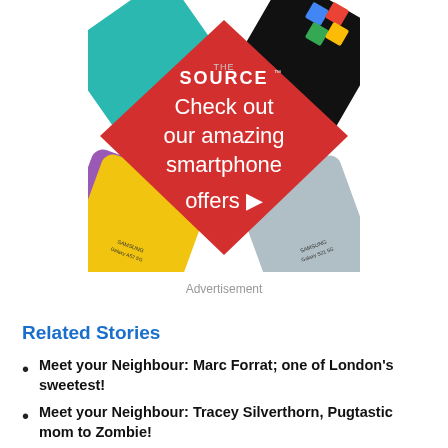[Figure (advertisement): The Source retail store advertisement featuring multiple smartphones arranged around a red diamond shape. Text reads 'THE SOURCE - Check out our amazing smartphone offers ▶'. Phones visible include Samsung Galaxy A52 5G and Samsung Galaxy S21 5G.]
Advertisement
Related Stories
Meet your Neighbour: Marc Forrat; one of London's sweetest!
Meet your Neighbour: Tracey Silverthorn, Pugtastic mom to Zombie!
Meet your Neighbour: The Donut Diva's Dee Spencer